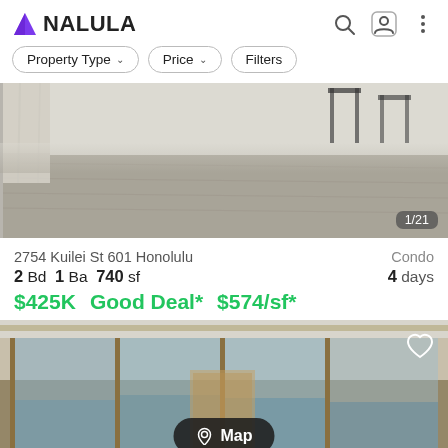NALULA
Property Type  Price  Filters
[Figure (photo): Interior room photo showing hardwood floors and large windows with curtains, with chairs visible in background. Counter reads 1/21.]
2754 Kuilei St 601 Honolulu
Condo
2 Bd 1 Ba 740 sf
4 days
$425K  Good Deal*  $574/sf*
[Figure (photo): Interior condo photo showing floor-to-ceiling windows with a view of mountains and water. Heart/favorite icon visible top right. Map button visible at bottom center.]